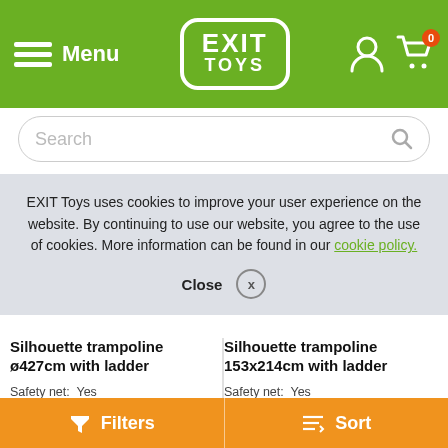EXIT TOYS — Menu | Cart: 0
Search
EXIT Toys uses cookies to improve your user experience on the website. By continuing to use our website, you agree to the use of cookies. More information can be found in our cookie policy.
Close
Silhouette trampoline ø427cm with ladder
Safety net:  Yes
Jump comfort:  Bronze
Quality rate:  Bronze
649,00
In stock, directly available
Silhouette trampoline 153x214cm with ladder
Safety net:  Yes
Jump comfort:  Bronze
Quality rate:  Bronze
369,00
In stock, directly available
Filters | Sort